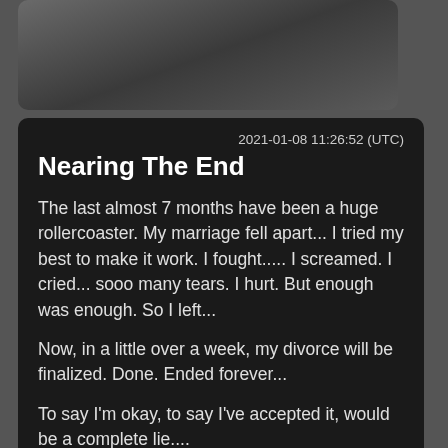[Figure (photo): Dark blurred background photo, partially visible at top]
2021-01-08 11:26:52 (UTC)
Nearing The End
The last almost 7 months have been a huge rollercoaster. My marriage fell apart... I tried my best to make it work. I fought..... I screamed. I cried... sooo many tears. I hurt. But enough was enough. So I left...
Now, in a little over a week, my divorce will be finalized. Done. Ended forever...
To say I'm okay, to say I've accepted it, would be a complete lie....
We've both moved forward. Only talking when we have